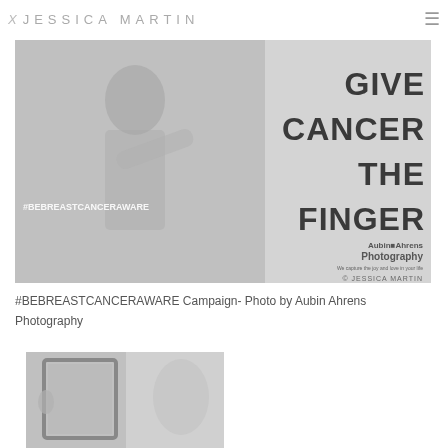JESSICA MARTIN
[Figure (photo): Black and white photo of a woman with short hair giving the finger, with text overlay reading 'GIVE CANCER THE FINGER', hashtag #BEBREASTCANCERAWARE, and Aubin+Ahrens Photography logo and © Jessica Martin credit]
#BEBREASTCANCERAWARE Campaign- Photo by Aubin Ahrens Photography
[Figure (photo): Black and white photo of a woman looking in a decorative mirror, partially cropped at bottom of page]